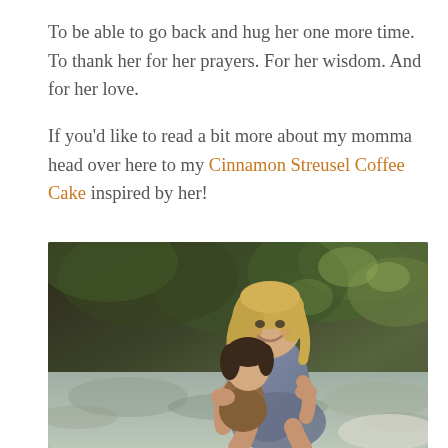To be able to go back and hug her one more time. To thank her for her prayers. For her wisdom. And for her love.

If you'd like to read a bit more about my momma head over here to my Cinnamon Streusel Coffee Cake inspired by her!
[Figure (photo): A vintage photograph of a smiling woman with blonde hair sitting outdoors near a rocky area with trees in the background, hugging a child. The woman is wearing a blue sleeveless top.]